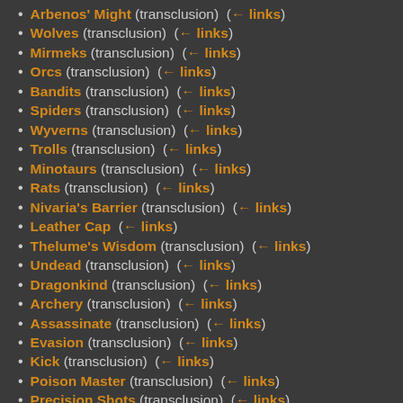Arbenos' Might (transclusion)  (← links)
Wolves (transclusion)  (← links)
Mirmeks (transclusion)  (← links)
Orcs (transclusion)  (← links)
Bandits (transclusion)  (← links)
Spiders (transclusion)  (← links)
Wyverns (transclusion)  (← links)
Trolls (transclusion)  (← links)
Minotaurs (transclusion)  (← links)
Rats (transclusion)  (← links)
Nivaria's Barrier (transclusion)  (← links)
Leather Cap  (← links)
Thelume's Wisdom (transclusion)  (← links)
Undead (transclusion)  (← links)
Dragonkind (transclusion)  (← links)
Archery (transclusion)  (← links)
Assassinate (transclusion)  (← links)
Evasion (transclusion)  (← links)
Kick (transclusion)  (← links)
Poison Master (transclusion)  (← links)
Precision Shots (transclusion)  (← links)
Rapid Fire (transclusion)  (← links)
Sneak Attack (transclusion)  (← links)